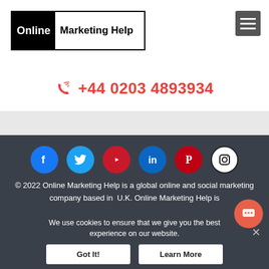[Figure (logo): Online Marketing Help logo — black left panel with white text 'Online' and white right panel with black text 'Marketing Help', bordered box]
[Figure (other): Hamburger menu icon — gray square with three white horizontal lines]
+44 0203 4893934
[Figure (other): Social media icons row: Facebook (blue), Twitter (blue), YouTube (red), LinkedIn (blue), Pinterest (red), Instagram (white/black)]
© 2022 Online Marketing Help is a global online and social marketing company based in U.K. Online Marketing Help is
We use cookies to ensure that we give you the best experience on our website.
Got It!
Learn More